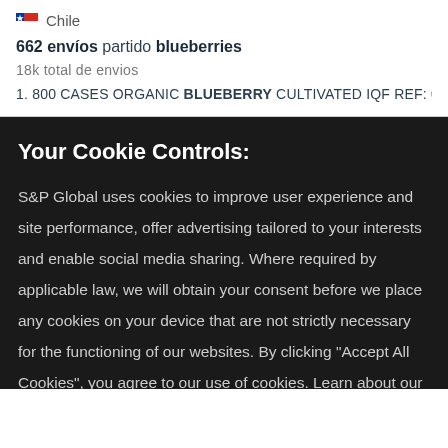[Figure (other): Small grey flag icon for Chile]
Chile
662 envíos partido blueberries
18k total de envios
1. 800 CASES ORGANIC BLUEBERRY CULTIVATED IQF REF: 062-19-590
Your Cookie Controls:
S&P Global uses cookies to improve user experience and site performance, offer advertising tailored to your interests and enable social media sharing. Where required by applicable law, we will obtain your consent before we place any cookies on your device that are not strictly necessary for the functioning of our websites. By clicking "Accept All Cookies", you agree to our use of cookies. Learn about our cookies and how to modify your